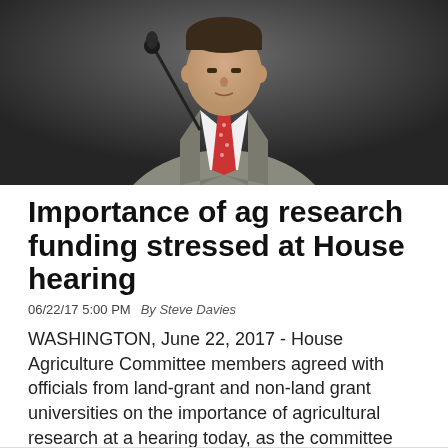[Figure (photo): A man in a grey suit and red patterned tie speaking at a podium with a microphone, photographed from chest up against a dark background.]
Importance of ag research funding stressed at House hearing
06/22/17 5:00 PM   By Steve Davies
WASHINGTON, June 22, 2017 - House Agriculture Committee members agreed with officials from land-grant and non-land grant universities on the importance of agricultural research at a hearing today, as the committee continues the process of preparing for the 2018 farm bill.
Read More